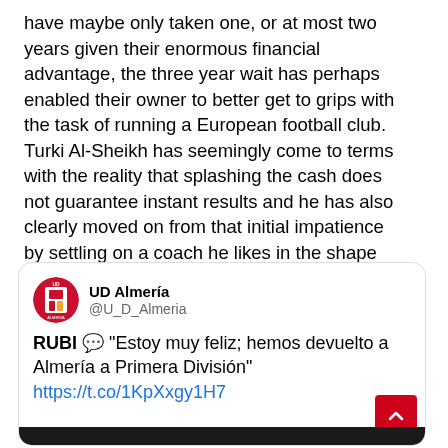have maybe only taken one, or at most two years given their enormous financial advantage, the three year wait has perhaps enabled their owner to better get to grips with the task of running a European football club. Turki Al-Sheikh has seemingly come to terms with the reality that splashing the cash does not guarantee instant results and he has also clearly moved on from that initial impatience by settling on a coach he likes in the shape of Rubi whose top flight experience will be an asset next term.
[Figure (screenshot): Embedded tweet from @U_D_Almeria (UD Almería) with text: RUBI 💬 "Estoy muy feliz; hemos devuelto a Almería a Primera División" https://t.co/1KpXxgy1H7]